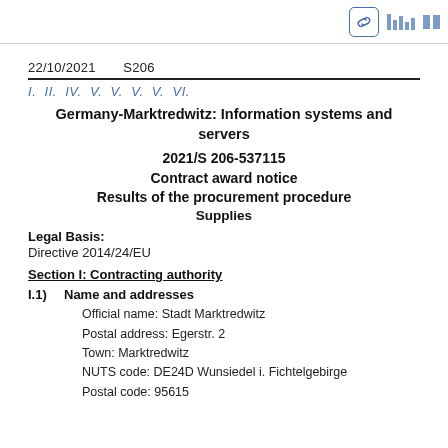22/10/2021  S206
I.  II.  IV.  V.  V.  V.  V.  VI.
Germany-Marktredwitz: Information systems and servers
2021/S 206-537115
Contract award notice
Results of the procurement procedure
Supplies
Legal Basis:
Directive 2014/24/EU
Section I: Contracting authority
I.1)  Name and addresses
Official name: Stadt Marktredwitz
Postal address: Egerstr. 2
Town: Marktredwitz
NUTS code: DE24D Wunsiedel i. Fichtelgebirge
Postal code: 95615